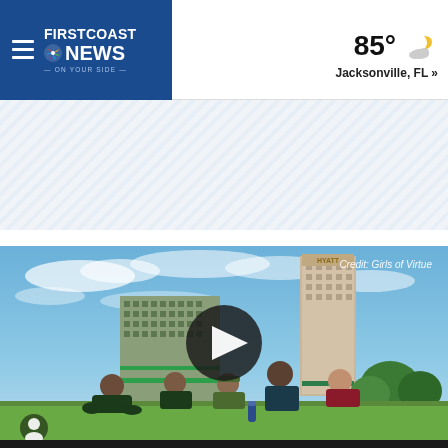FIRST COAST NEWS ON YOUR SIDE — 85° Jacksonville, FL »
[Figure (other): Diagonal stripe advertisement banner placeholder area]
[Figure (photo): Video thumbnail showing a group of people sitting on grass in front of a tall Hyatt hotel building in Jacksonville under a blue sky with clouds. A large circular play button is overlaid in the center. Credit: Girls of Virtue shown in upper right of image.]